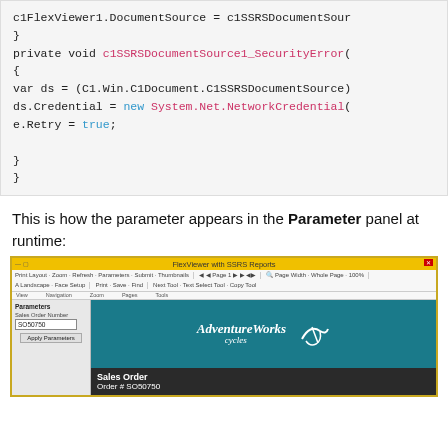[Figure (screenshot): Code block showing C# code: c1FlexViewer1.DocumentSource = c1SSRSDocumentSource..., private void c1SSRSDocumentSource1_SecurityError(...), with var ds cast and ds.Credential = new System.Net.NetworkCredential(...), e.Retry = true;]
This is how the parameter appears in the Parameter panel at runtime:
[Figure (screenshot): Screenshot of FlexViewer with SSRS Reports application showing the AdventureWorks Cycles logo on a teal background, a Parameters panel on the left with Sales Order Number field set to SO50750 and Apply Parameters button, and a Sales Order section showing Order # SO50750.]